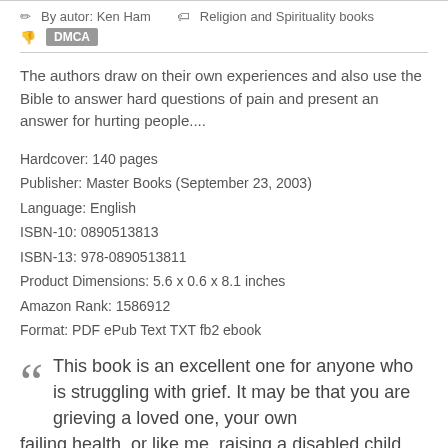By autor: Ken Ham   Religion and Spirituality books
DMCA
The authors draw on their own experiences and also use the Bible to answer hard questions of pain and present an answer for hurting people....
Hardcover: 140 pages
Publisher: Master Books (September 23, 2003)
Language: English
ISBN-10: 0890513813
ISBN-13: 978-0890513811
Product Dimensions: 5.6 x 0.6 x 8.1 inches
Amazon Rank: 1586912
Format: PDF ePub Text TXT fb2 ebook
This book is an excellent one for anyone who is struggling with grief. It may be that you are grieving a loved one, your own failing health, or like me, raising a disabled child you